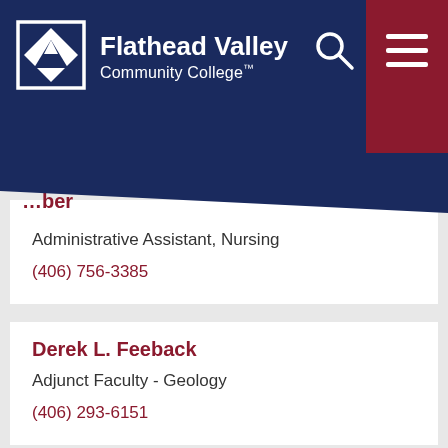Flathead Valley Community College
…ber
Administrative Assistant, Nursing
(406) 756-3385
Derek L. Feeback
Adjunct Faculty - Geology
(406) 293-6151